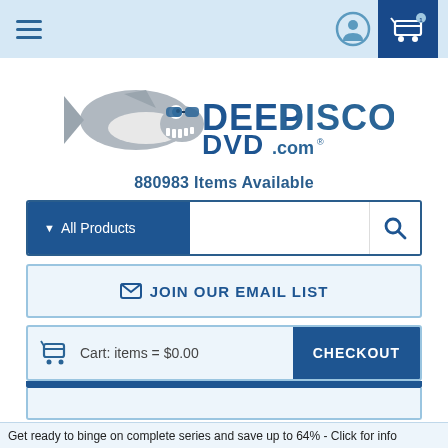DeepDiscountDVD.com navigation bar with hamburger menu, user icon, and cart icon
[Figure (logo): DeepDiscountDVD.com logo with cartoon shark wearing sunglasses]
880983 Items Available
[Figure (screenshot): Search bar with All Products dropdown and search icon]
✉ JOIN OUR EMAIL LIST
Cart: items = $0.00
CHECKOUT
Get ready to binge on complete series and save up to 64% - Click for info